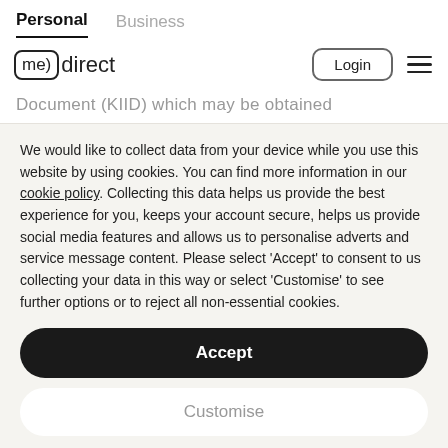Personal  Business
[Figure (logo): MeDirect logo with Login button and hamburger menu]
Document (KIID) which may be obtained
We would like to collect data from your device while you use this website by using cookies. You can find more information in our cookie policy. Collecting this data helps us provide the best experience for you, keeps your account secure, helps us provide social media features and allows us to personalise adverts and service message content. Please select 'Accept' to consent to us collecting your data in this way or select 'Customise' to see further options or to reject all non-essential cookies.
Accept
Customise